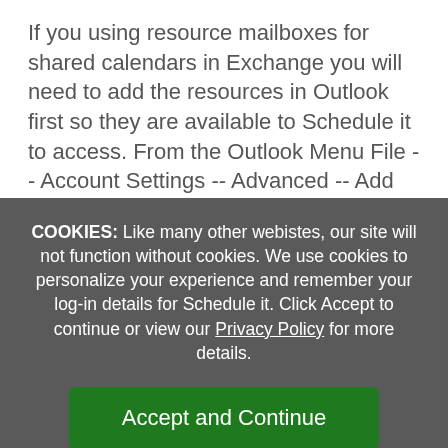If you using resource mailboxes for shared calendars in Exchange you will need to add the resources in Outlook first so they are available to Schedule it to access. From the Outlook Menu File -- Account Settings -- Advanced -- Add (All Resources Mailboxes).
COOKIES: Like many other webistes, our site will not function without cookies. We use cookies to personalize your experience and remember your log-in details for Schedule it. Click Accept to continue or view our Privacy Policy for more details.
Accept and Continue